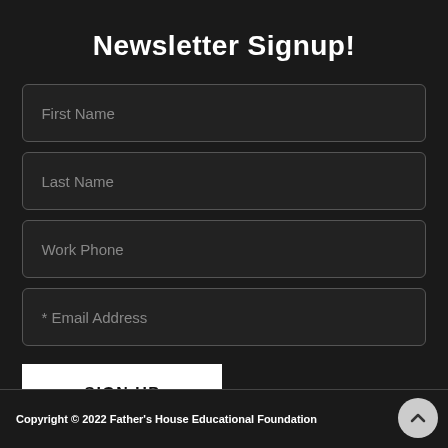Newsletter Signup!
First Name
Last Name
Work Phone
* Email Address
SIGN UP
Copyright © 2022 Father's House Educational Foundation